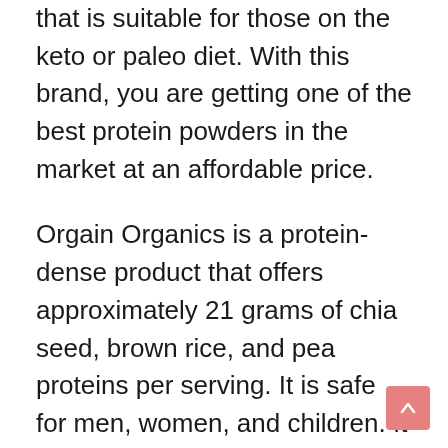that is suitable for those on the keto or paleo diet. With this brand, you are getting one of the best protein powders in the market at an affordable price.
Orgain Organics is a protein-dense product that offers approximately 21 grams of chia seed, brown rice, and pea proteins per serving. It is safe for men, women, and children. It is also easy to mix with milk and water and makes tasty brownies and muffins, which is a great way to get some extra protein into your picky eaters.
What We Like